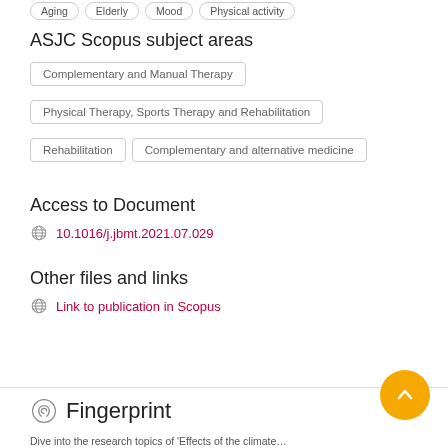Aging
Elderly
Mood
Physical activity
ASJC Scopus subject areas
Complementary and Manual Therapy
Physical Therapy, Sports Therapy and Rehabilitation
Rehabilitation
Complementary and alternative medicine
Access to Document
10.1016/j.jbmt.2021.07.029
Other files and links
Link to publication in Scopus
Fingerprint
Dive into the research topics of 'Effects of the climate...